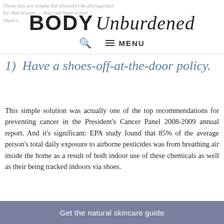BODY Unburdened — These tips are simple but shouldn't be disregarded for that reason — they can have a real impact.
1) Have a shoes-off-at-the-door policy.
This simple solution was actually one of the top recommendations for preventing cancer in the President's Cancer Panel 2008-2009 annual report. And it's significant: EPA study found that 85% of the average person's total daily exposure to airborne pesticides was from breathing air inside the home as a result of both indoor use of these chemicals as well as their being tracked indoors via shoes.
Get the natural skincare guide